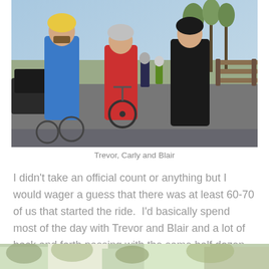[Figure (photo): Three cyclists standing with bikes on a street, wearing helmets and cycling gear. Left person in blue jacket, center person in red jacket, right person in black cycling kit. Sunny day, parked cars and trees in background.]
Trevor, Carly and Blair
I didn't take an official count or anything but I would wager a guess that there was at least 60-70 of us that started the ride.  I'd basically spend most of the day with Trevor and Blair and a lot of back and forth passing with the same half dozen or so riders.
[Figure (photo): Partial view of outdoor scene with trees and natural surroundings, cropped at bottom of page.]